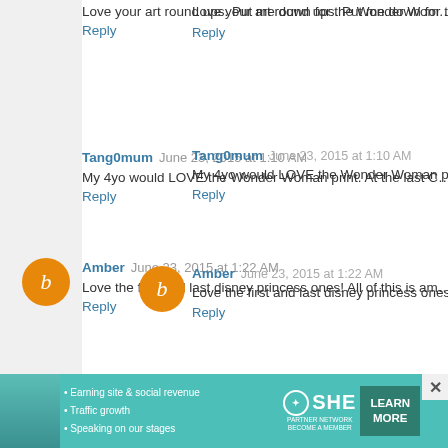Love your art round ups. Put me down for the Wonder Wom…
Reply
Tang0mum  June 23, 2015 at 1:10 AM
My 4yo would LOVE the Wonder Woman print. At the last C…
Reply
Amber  June 23, 2015 at 1:22 AM
Love the first and last disney princess ones! All of this is am…
Reply
Leeshka  June 23, 2015 at 1:39 AM
Big Daddy!! I love him!
Reply
Mindy  June 23, 2015 at 2:04 AM
My daughter is very big into Disney princesses right n…
[Figure (infographic): SHE Partner Network advertisement banner with teal background, woman photo, bullet points about earning site & social revenue, traffic growth, speaking on stages, SHE logo, and Learn More button]